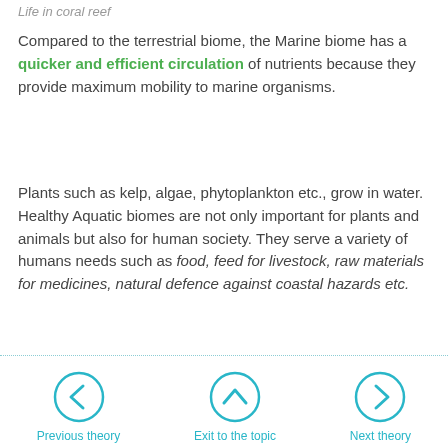Life in coral reef
Compared to the terrestrial biome, the Marine biome has a quicker and efficient circulation of nutrients because they provide maximum mobility to marine organisms.
Plants such as kelp, algae, phytoplankton etc., grow in water. Healthy Aquatic biomes are not only important for plants and animals but also for human society. They serve a variety of humans needs such as food, feed for livestock, raw materials for medicines, natural defence against coastal hazards etc.
Previous theory | Exit to the topic | Next theory